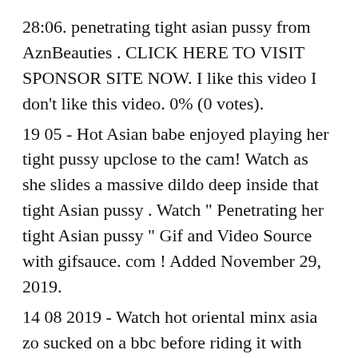28:06. penetrating tight asian pussy from AznBeauties . CLICK HERE TO VISIT SPONSOR SITE NOW. I like this video I don't like this video. 0% (0 votes).
19 05 - Hot Asian babe enjoyed playing her tight pussy upclose to the cam! Watch as she slides a massive dildo deep inside that tight Asian pussy . Watch " Penetrating her tight Asian pussy " Gif and Video Source with gifsauce. com ! Added November 29, 2019.
14 08 2019 - Watch hot oriental minx asia zo sucked on a bbc before riding it with fervor. Slutload is the world's largest free porn community.
2 05 2019 - Смотри Big black dick penetrates tight Asian pussy онлайн на YouPorn. YouPorn - самый крупный сайт с Asian порно, на котором ты